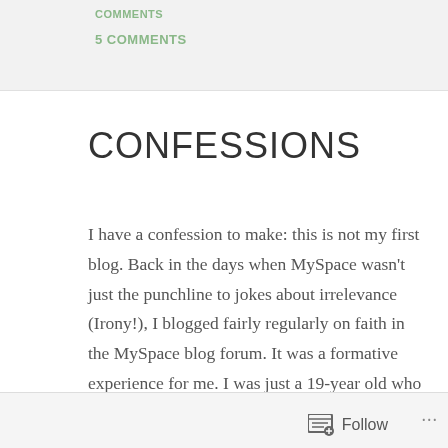5 COMMENTS
CONFESSIONS
I have a confession to make: this is not my first blog. Back in the days when MySpace wasn't just the punchline to jokes about irrelevance (Irony!), I blogged fairly regularly on faith in the MySpace blog forum. It was a formative experience for me. I was just a 19-year old who knew next to nothing, but for some reason I was getting read. I met a lot of great people and great writers through that blog, some of whom I still keep in
Follow ...